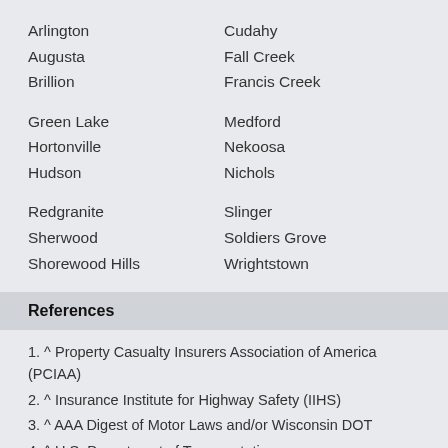Arlington
Augusta
Brillion
Cudahy
Fall Creek
Francis Creek
Green Lake
Hortonville
Hudson
Medford
Nekoosa
Nichols
Redgranite
Sherwood
Shorewood Hills
Slinger
Soldiers Grove
Wrightstown
References
1. ^ Property Casualty Insurers Association of America (PCIAA)
2. ^ Insurance Institute for Highway Safety (IIHS)
3. ^ AAA Digest of Motor Laws and/or Wisconsin DOT
4. ^ U.S. Department of Transportation